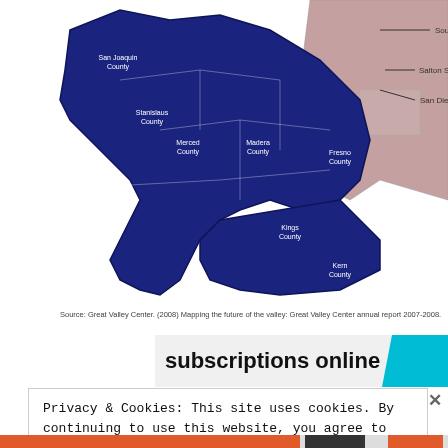[Figure (map): Map of California showing two regions: a dark blue region covering the San Joaquin Valley counties (San Joaquin County, Stanislaus County, Merced County, Madera County, Fresno County, Kings County, Tulare County, Kern County) and a light pink/mauve region on the right side showing South Coast, San Diego, and Salton Sea areas.]
Source: Great Valley Center. (2008) Mapping the future of the valley: Great Valley Center annual report 2007-2008.
subscriptions online
Privacy & Cookies: This site uses cookies. By continuing to use this website, you agree to their use.
To find out more, including how to control cookies, see here: Cookie Policy